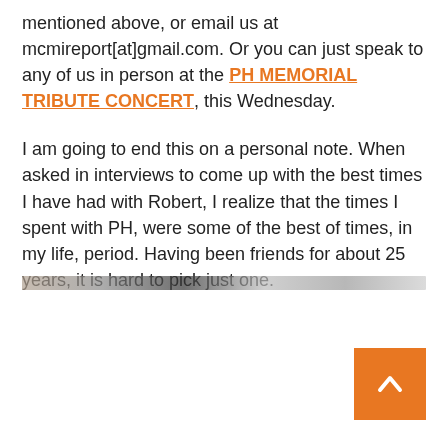mentioned above, or email us at mcmireport[at]gmail.com. Or you can just speak to any of us in person at the PH MEMORIAL TRIBUTE CONCERT, this Wednesday.
I am going to end this on a personal note. When asked in interviews to come up with the best times I have had with Robert, I realize that the times I spent with PH, were some of the best of times, in my life, period. Having been friends for about 25 years, it is hard to pick just one.
[Figure (other): A blurred/redacted navigation bar or image strip at the bottom of the text content]